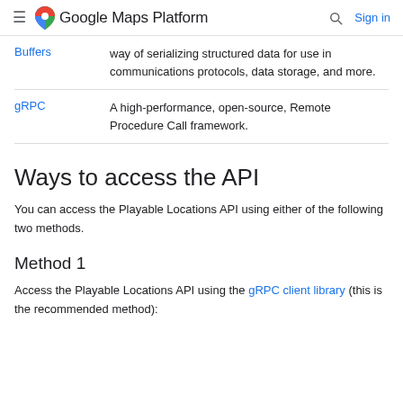Google Maps Platform — Sign in
| Term | Definition |
| --- | --- |
| Buffers | way of serializing structured data for use in communications protocols, data storage, and more. |
| gRPC | A high-performance, open-source, Remote Procedure Call framework. |
Ways to access the API
You can access the Playable Locations API using either of the following two methods.
Method 1
Access the Playable Locations API using the gRPC client library (this is the recommended method):